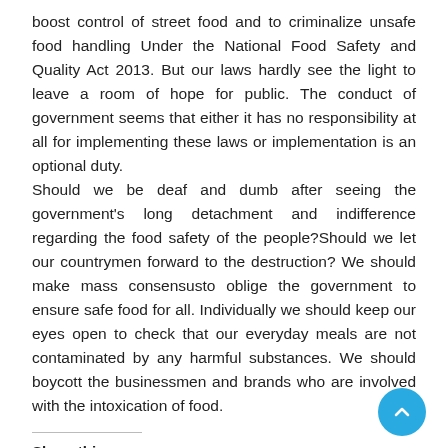boost control of street food and to criminalize unsafe food handling Under the National Food Safety and Quality Act 2013. But our laws hardly see the light to leave a room of hope for public. The conduct of government seems that either it has no responsibility at all for implementing these laws or implementation is an optional duty.
Should we be deaf and dumb after seeing the government's long detachment and indifference regarding the food safety of the people?Should we let our countrymen forward to the destruction? We should make mass consensusto oblige the government to ensure safe food for all. Individually we should keep our eyes open to check that our everyday meals are not contaminated by any harmful substances. We should boycott the businessmen and brands who are involved with the intoxication of food.
Share this:
Tumblr
Pinterest
Pocket
More